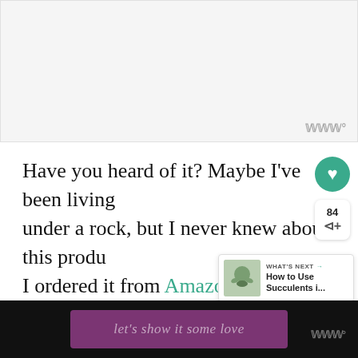[Figure (other): Blank/white video or image placeholder area with Wistia watermark logo in bottom-right corner]
Have you heard of it? Maybe I've been living under a rock, but I never knew about this produ... I ordered it from Amazon, hoping that spendin... only $12.99 was going to solve my pro...
Wh... it arri... I ... all the f... it ... that ha... ... over.
[Figure (screenshot): WHAT'S NEXT arrow panel showing 'How to Use Succulents i...' with a small succulent image thumbnail]
[Figure (screenshot): Bottom overlay bar with dark background and purple 'let's show it some love' banner, plus Wistia watermark]